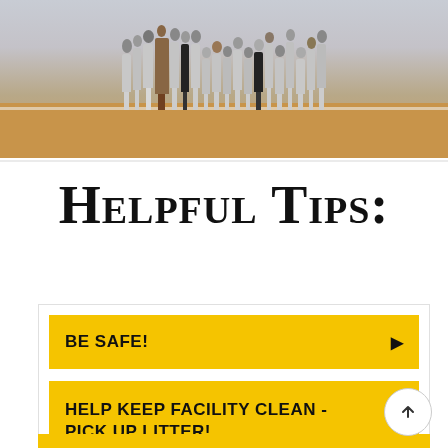[Figure (photo): A group photo of youth baseball players and coaches standing in a line on a dirt baseball field, wearing gray uniforms.]
Helpful Tips:
BE SAFE!
HELP KEEP FACILITY CLEAN - PICK UP LITTER!